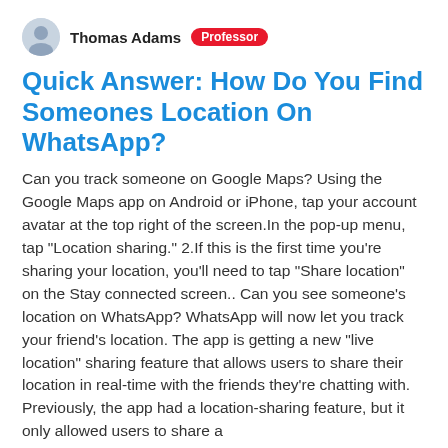Thomas Adams  Professor
Quick Answer: How Do You Find Someones Location On WhatsApp?
Can you track someone on Google Maps? Using the Google Maps app on Android or iPhone, tap your account avatar at the top right of the screen.In the pop-up menu, tap "Location sharing." 2.If this is the first time you're sharing your location, you'll need to tap "Share location" on the Stay connected screen.. Can you see someone's location on WhatsApp? WhatsApp will now let you track your friend's location. The app is getting a new "live location" sharing feature that allows users to share their location in real-time with the friends they're chatting with. Previously, the app had a location-sharing feature, but it only allowed users to share a